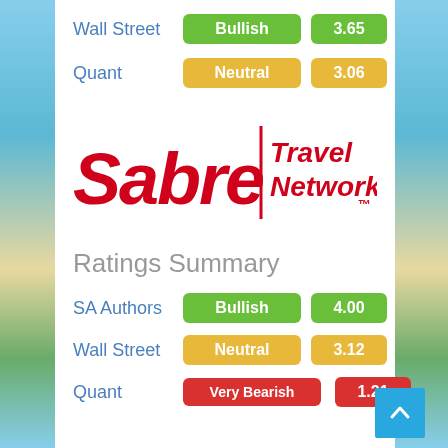Wall Street
Bullish  3.65
Quant
Neutral  3.06
[Figure (logo): Sabre Travel Network logo in red]
Ratings Summary
SA Authors
Bullish  4.00
Wall Street
Neutral  3.12
Quant
Very Bearish  1.21